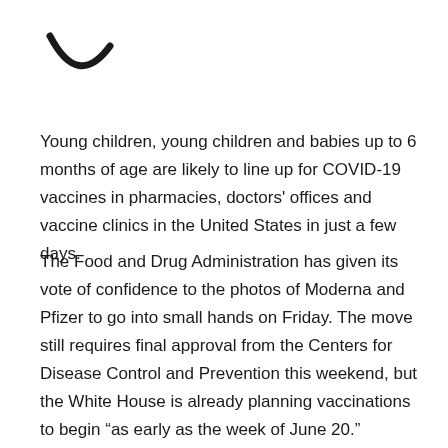[Figure (logo): Partial curved logo mark resembling a smile or arc shape in black]
Young children, young children and babies up to 6 months of age are likely to line up for COVID-19 vaccines in pharmacies, doctors' offices and vaccine clinics in the United States in just a few days.
The Food and Drug Administration has given its vote of confidence to the photos of Moderna and Pfizer to go into small hands on Friday. The move still requires final approval from the Centers for Disease Control and Prevention this weekend, but the White House is already planning vaccinations to begin “as early as the week of June 20.”